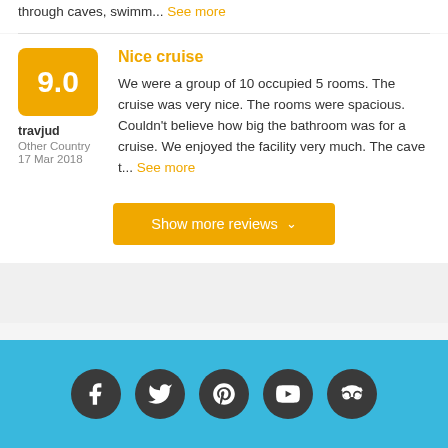through caves, swimm... See more
[Figure (other): Orange score badge showing 9.0]
travjud
Other Country
17 Mar 2018
Nice cruise
We were a group of 10 occupied 5 rooms. The cruise was very nice. The rooms were spacious. Couldn't believe how big the bathroom was for a cruise. We enjoyed the facility very much. The cave t... See more
Show more reviews
[Figure (infographic): Footer with social media icons: Facebook, Twitter, Pinterest, YouTube, TripAdvisor on blue background]